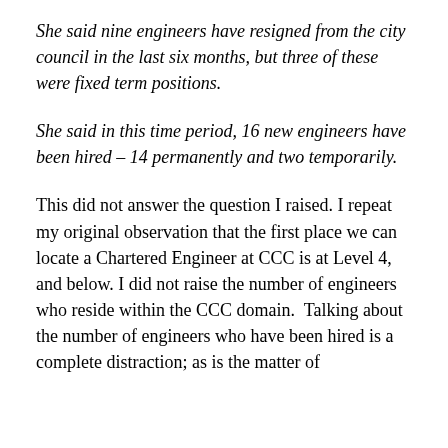She said nine engineers have resigned from the city council in the last six months, but three of these were fixed term positions.
She said in this time period, 16 new engineers have been hired – 14 permanently and two temporarily.
This did not answer the question I raised. I repeat my original observation that the first place we can locate a Chartered Engineer at CCC is at Level 4, and below. I did not raise the number of engineers who reside within the CCC domain.  Talking about the number of engineers who have been hired is a complete distraction; as is the matter of